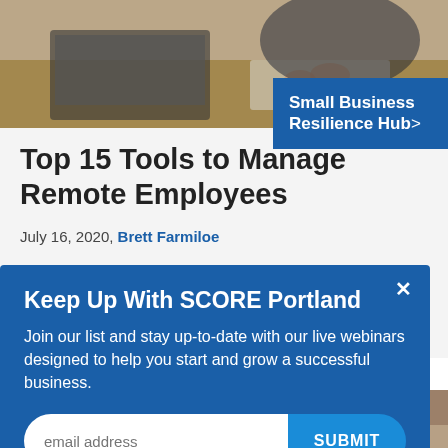[Figure (photo): Top photo of person working at desk with laptop and keyboard, overhead view]
Small Business Resilience Hub>
Top 15 Tools to Manage Remote Employees
July 16, 2020, Brett Farmiloe
Keep Up With SCORE Portland
Join our list and stay up-to-date with our live webinars designed to help you start and grow a successful business.
[Figure (photo): Bottom photo of a woman working on a laptop in a home kitchen/living area]